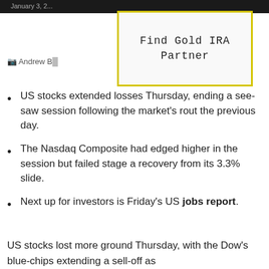January 3, 2...
[Figure (other): Advertisement box with yellow border reading 'Find Gold IRA Partner']
Andrew B[...]
US stocks extended losses Thursday, ending a see-saw session following the market's rout the previous day.
The Nasdaq Composite had edged higher in the session but failed stage a recovery from its 3.3% slide.
Next up for investors is Friday's US jobs report.
US stocks lost more ground Thursday, with the Dow's blue-chips extending a sell-off as